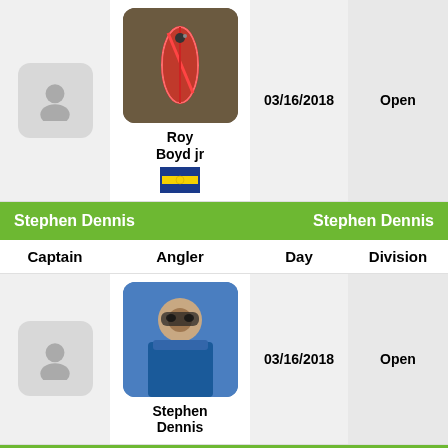| Captain | Angler | Day | Division |
| --- | --- | --- | --- |
|  | Roy Boyd jr | 03/16/2018 | Open |
Stephen Dennis | Stephen Dennis
| Captain | Angler | Day | Division |
| --- | --- | --- | --- |
|  | Stephen Dennis | 03/16/2018 | Open |
Kenneth Addair | Kenneth Addair
| Captain | Angler | Day | Division |
| --- | --- | --- | --- |
|  |  | 03/16/2018 | Open |